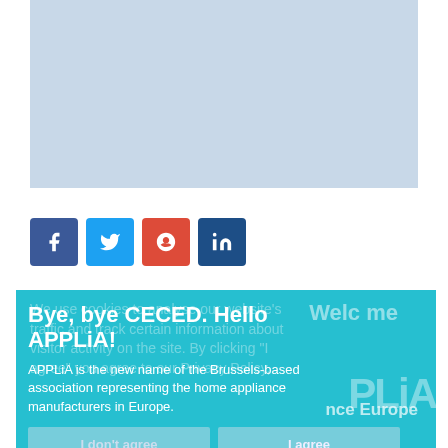[Figure (photo): Light blue placeholder image area at top of page]
[Figure (infographic): Row of four social media icons: Facebook (blue), Twitter (light blue), Google+ (red), LinkedIn (dark blue)]
Bye, bye CECED. Hello APPLiA!
APPLiA is the new name of the Brussels-based association representing the home appliance manufacturers in Europe.
I don't agree
I agree